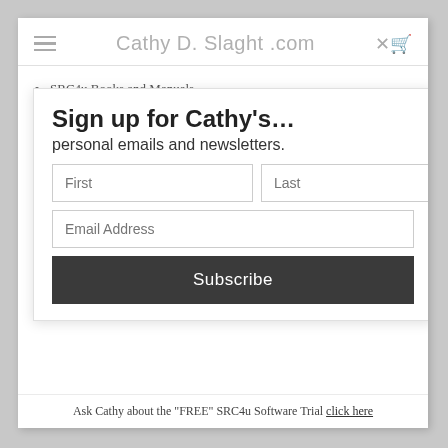Cathy D. Slaght .com
SRC4u Books and Manuals
SRC4u Software Training
SRC4u Software Cocktails
SRC4u Store (Upgrading)
SRC4u Telegram Group
SRC4u Training Manual
Distant Crystal Healing
The Art of Spiritual Hygiene TAOsh
Sign up for Cathy's…
personal emails and newsletters.
First (input field), Last (input field), Email Address (input field)
Subscribe
Ask Cathy about the "FREE" SRC4u Software Trial click here